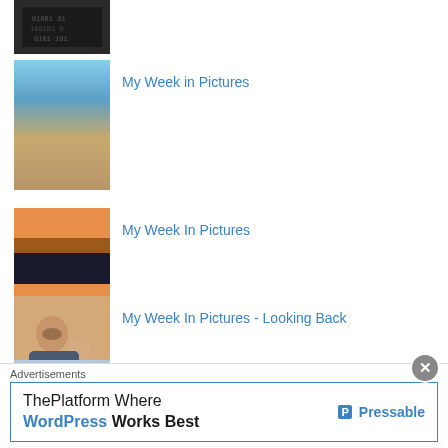[Figure (photo): Partially visible thumbnail at top, dark image with digital/matrix styling]
[Figure (photo): Coastal/sea scene with rocks and sky thumbnail]
My Week in Pictures
[Figure (photo): Sunset landscape with horizontal banded color strips thumbnail]
My Week In Pictures
[Figure (photo): Two people (adult and child) looking at something together thumbnail]
My Week In Pictures - Looking Back
[Figure (photo): Partially visible thumbnail at bottom]
My Week In Pictures - Fun Times, Uphill Challenge...
Advertisements
[Figure (screenshot): Advertisement banner: ThePlatform Where WordPress Works Best - Pressable]